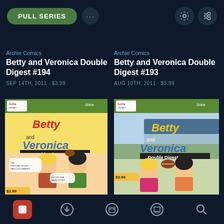PULL SERIES
Archie Comics
Betty and Veronica Double Digest #194
SEP 14TH, 2011 · $3.99
Archie Comics
Betty and Veronica Double Digest #193
AUG 10TH, 2011 · $3.99
[Figure (illustration): Comic book cover: Betty and Veronica Double Digest #194, featuring Betty and Veronica at a beach/fair setting with a football, comic art style]
[Figure (illustration): Comic book cover: Betty and Veronica Double Digest #193, featuring Betty and Veronica at a stadium/sports event, comic art style]